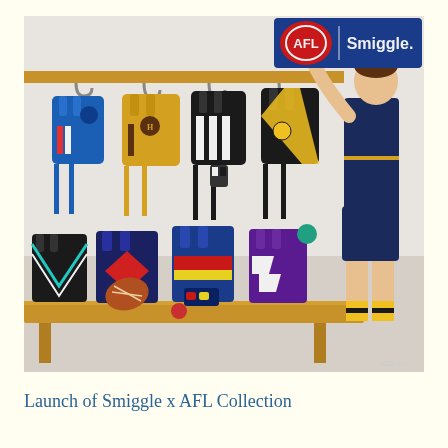[Figure (photo): Photo of AFL x Smiggle branded school backpacks hanging on hooks and arranged on a wooden bench in a locker room setting. A child wearing a Richmond AFL jersey is reaching up to touch one of the hanging backpacks. The backpacks feature various AFL team colors including blue/red/white (Western Bulldogs), brown/gold (Hawthorn), black/white stripes (Collingwood), black/yellow (Richmond), black/teal (Port Adelaide), navy/red (Western Bulldogs), blue/red/yellow (Adelaide Crows), and purple/white (Fremantle). The AFL and Smiggle logos appear in the top right corner on a blue background.]
Launch of Smiggle x AFL Collection